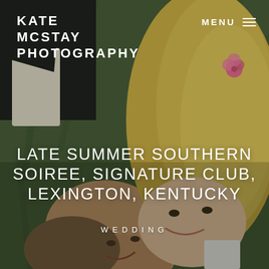[Figure (photo): Aerial/overhead photo of a couple lying on grass, looking at each other and smiling. The man is on the left wearing a dark suit, the woman on the right has blonde hair. A pink flower is visible in the upper right area of the grass.]
KATE MCSTAY PHOTOGRAPHY
MENU ≡
LATE SUMMER SOUTHERN SOIREE, SIGNATURE CLUB, LEXINGTON, KENTUCKY
WEDDING